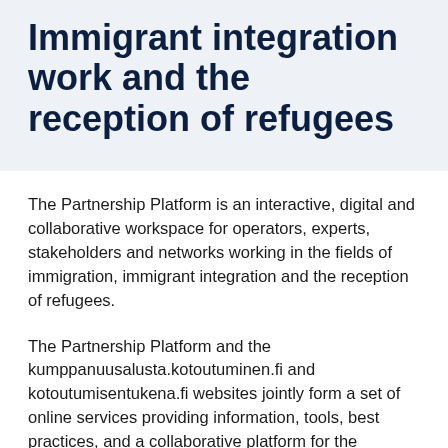Immigrant integration work and the reception of refugees
The Partnership Platform is an interactive, digital and collaborative workspace for operators, experts, stakeholders and networks working in the fields of immigration, immigrant integration and the reception of refugees.
The Partnership Platform and the kumppanuusalusta.kotoutuminen.fi and kotoutumisentukena.fi websites jointly form a set of online services providing information, tools, best practices, and a collaborative platform for the operators in the fields of immigrant integration and